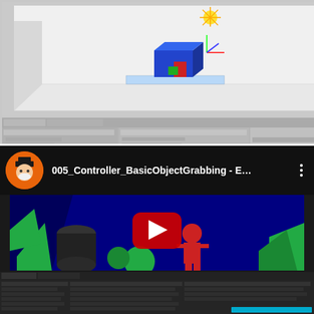[Figure (screenshot): Unity Editor screenshot showing a 3D scene with blue cube/object on a white platform, with inspector panel on right and console/project panel at bottom]
[Figure (screenshot): YouTube video embed showing '005_Controller_BasicObjectGrabbing - E...' with a channel avatar (orange circle with character), three-dot menu, and video thumbnail showing a dark blue 3D scene with geometric shapes (green triangles, black cylinders, red humanoid figure) and a YouTube play button overlay. Below is a Unity Editor console area.]